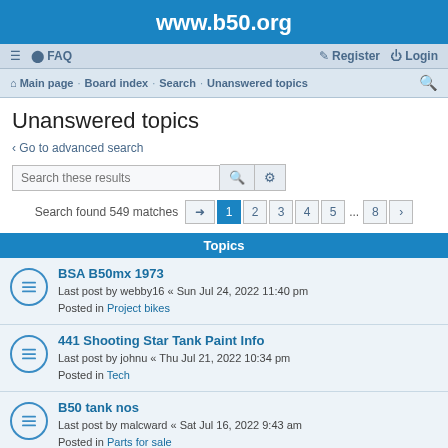www.b50.org
≡ FAQ | Register Login
Main page · Board index · Search · Unanswered topics
Unanswered topics
< Go to advanced search
Search these results
Search found 549 matches  1 2 3 4 5 ... 8 >
Topics
BSA B50mx 1973
Last post by webby16 « Sun Jul 24, 2022 11:40 pm
Posted in Project bikes
441 Shooting Star Tank Paint Info
Last post by johnu « Thu Jul 21, 2022 10:34 pm
Posted in Tech
B50 tank nos
Last post by malcward « Sat Jul 16, 2022 9:43 am
Posted in Parts for sale
B50 Parts on ebay UK - TMS